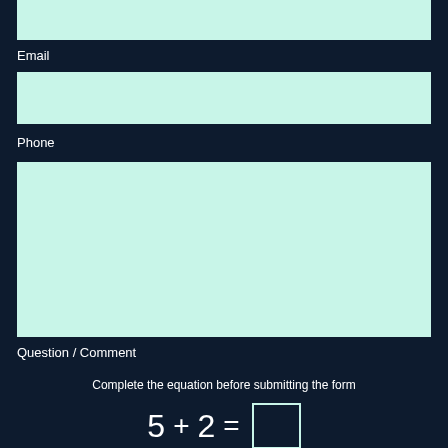[Figure (other): Light green input field (top, partially visible)]
Email
[Figure (other): Light green input field for Email]
Phone
[Figure (other): Light green large input/textarea for Phone / Question / Comment]
Question / Comment
Complete the equation before submitting the form
5 + 2 = [ ]